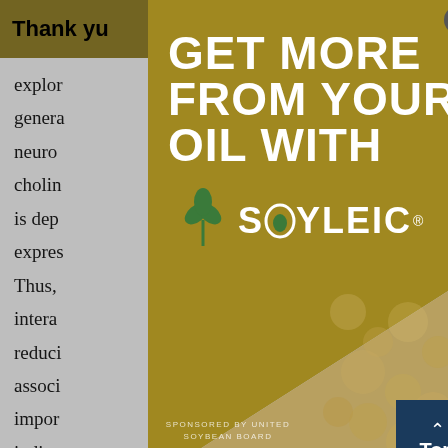Thank you  ...ools you
explor... genera... neuro... cholin... is dep... expres... Thus,... intera... reduci... associ... impor... indica...
[Figure (advertisement): Modal advertisement overlay: gold background with white bold text reading 'GET MORE FROM YOUR OIL WITH', Soyleic brand logo with green plant icon, diagonal split with textured soybean image in lower right, 'SPONSORED BY UNITED SOYBEAN BOARD' text, and close (X) button in top right corner. A dark blue 'Top' button with up arrow appears in bottom right.]